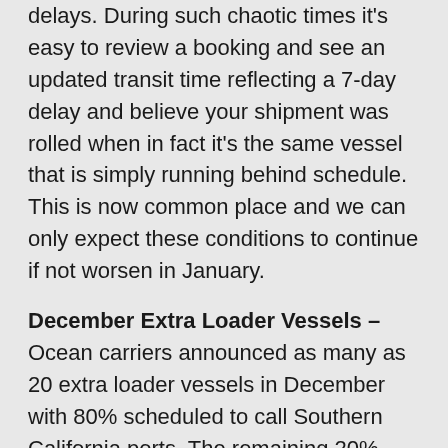delays. During such chaotic times it's easy to review a booking and see an updated transit time reflecting a 7-day delay and believe your shipment was rolled when in fact it's the same vessel that is simply running behind schedule. This is now common place and we can only expect these conditions to continue if not worsen in January.
December Extra Loader Vessels – Ocean carriers announced as many as 20 extra loader vessels in December with 80% scheduled to call Southern California ports. The remaining 20% sailings will cover US east cost ports including one sailing into the gulf coast. The extra-loaders will help provide shippers with needed capacity at China ports such as Xiamen, Yantian and Shanghai.
For over 70 years, Laufer Group International Ltd. has